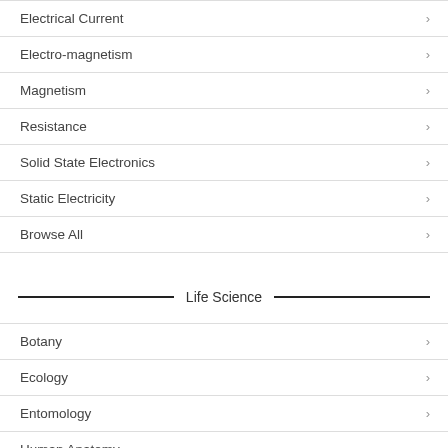Electrical Current
Electro-magnetism
Magnetism
Resistance
Solid State Electronics
Static Electricity
Browse All
Life Science
Botany
Ecology
Entomology
Human Anatomy
Mycology